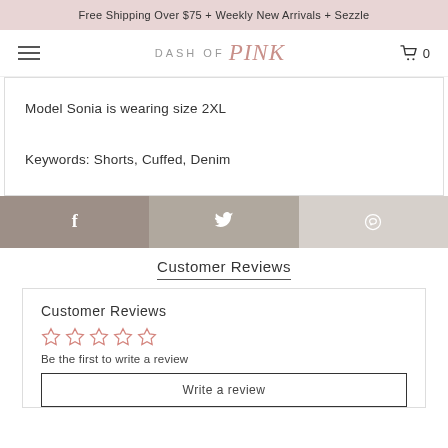Free Shipping Over $75 + Weekly New Arrivals + Sezzle
[Figure (logo): Dash of Pink logo with hamburger menu and cart icon showing 0 items]
Model Sonia is wearing size 2XL

Keywords: Shorts, Cuffed, Denim
[Figure (infographic): Three social share buttons: Facebook (dark taupe), Twitter (medium taupe), Pinterest (light taupe)]
Customer Reviews
Customer Reviews
[Figure (infographic): Five empty star rating icons in pink/rose color]
Be the first to write a review
Write a review